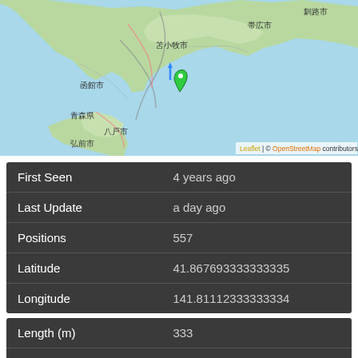[Figure (map): Leaflet/OpenStreetMap map centered on Hokkaido/northern Japan region showing a green location pin with blue arrow near Hakodate (函館市), with surrounding cities including 苫小牧市, 帯広市, 釧路市, 青森県, 八戸市, 弘前市. Map has light blue water and green land areas.]
| Field | Value |
| --- | --- |
| First Seen | 4 years ago |
| Last Update | a day ago |
| Positions | 557 |
| Latitude | 41.867693333333335 |
| Longitude | 141.81112333333334 |
| Field | Value |
| --- | --- |
| Length (m) | 333 |
| Width (m) | 42 |